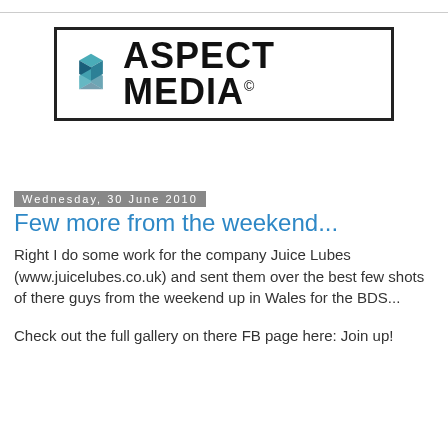[Figure (logo): Aspect Media logo with teal/blue 3D cube icon and bold black text reading ASPECT MEDIA with copyright symbol, inside a rectangular border]
Wednesday, 30 June 2010
Few more from the weekend...
Right I do some work for the company Juice Lubes (www.juicelubes.co.uk) and sent them over the best few shots of there guys from the weekend up in Wales for the BDS...
Check out the full gallery on there FB page here: Join up!